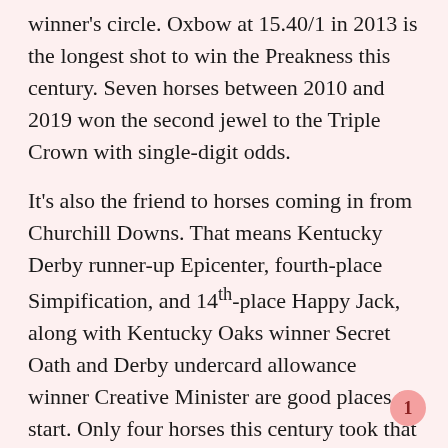winner's circle. Oxbow at 15.40/1 in 2013 is the longest shot to win the Preakness this century. Seven horses between 2010 and 2019 won the second jewel to the Triple Crown with single-digit odds.
It's also the friend to horses coming in from Churchill Downs. That means Kentucky Derby runner-up Epicenter, fourth-place Simpification, and 14th-place Happy Jack, along with Kentucky Oaks winner Secret Oath and Derby undercard allowance winner Creative Minister are good places to start. Only four horses this century took that weekend off and ran off with the Preakness.